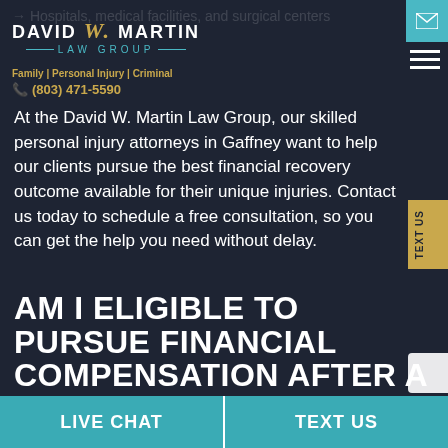→ Hospitals, medical facilities, and surgical centers
[Figure (logo): David W. Martin Law Group logo with gold script W and teal LAW GROUP text]
Family | Personal Injury | Criminal
(803) 471-5590
At the David W. Martin Law Group, our skilled personal injury attorneys in Gaffney want to help our clients pursue the best financial recovery outcome available for their unique injuries. Contact us today to schedule a free consultation, so you can get the help you need without delay.
AM I ELIGIBLE TO PURSUE FINANCIAL COMPENSATION AFTER A MEDICAL MALPRACT
TEXT US
LIVE CHAT | TEXT US